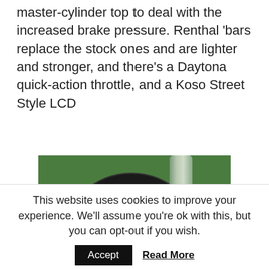master-cylinder top to deal with the increased brake pressure. Renthal 'bars replace the stock ones and are lighter and stronger, and there's a Daytona quick-action throttle, and a Koso Street Style LCD
[Figure (photo): Close-up photograph of a motorcycle front wheel showing the fork, spoked wheel, disc brake rotor, and brake caliper against a green background.]
This website uses cookies to improve your experience. We'll assume you're ok with this, but you can opt-out if you wish.
Accept  Read More